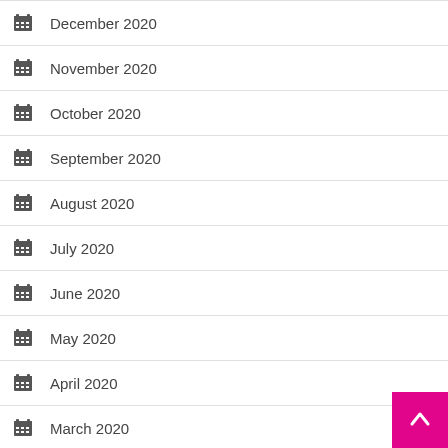December 2020
November 2020
October 2020
September 2020
August 2020
July 2020
June 2020
May 2020
April 2020
March 2020
November 2019
October 2019
September 2019